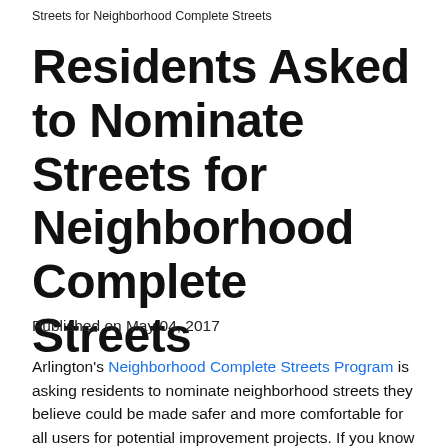Streets for Neighborhood Complete Streets
Residents Asked to Nominate Streets for Neighborhood Complete Streets
Published on May 04, 2017
Arlington's Neighborhood Complete Streets Program is asking residents to nominate neighborhood streets they believe could be made safer and more comfortable for all users for potential improvement projects. If you know a